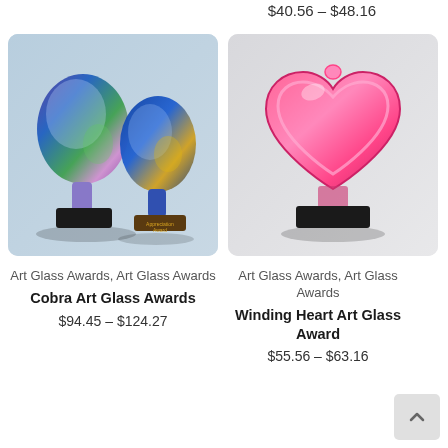$40.56 – $48.16
[Figure (photo): Two Art Glass Awards (Cobra style) with multicolor swirling glass on black bases, shown against a light blue-gray background]
Art Glass Awards, Art Glass Awards
Cobra Art Glass Awards
$94.45 – $124.27
[Figure (photo): Pink heart-shaped art glass award on a black base, shown against a light gray background]
Art Glass Awards, Art Glass Awards
Winding Heart Art Glass Award
$55.56 – $63.16